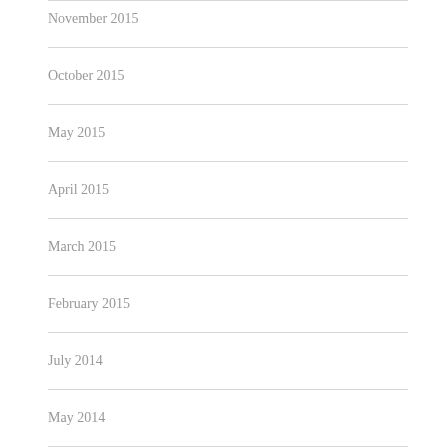November 2015
October 2015
May 2015
April 2015
March 2015
February 2015
July 2014
May 2014
April 2014
January 2014
April 2013